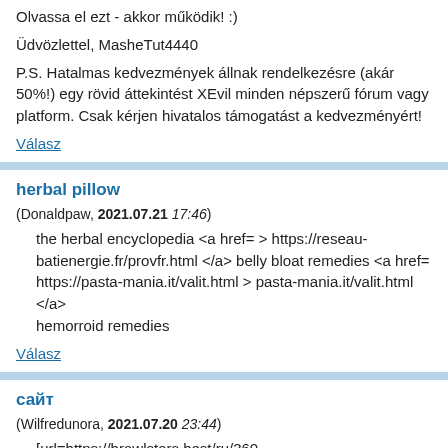Olvassa el ezt - akkor működik! :)
Üdvözlettel, MasheTut4440
P.S. Hatalmas kedvezmények állnak rendelkezésre (akár 50%!) egy rövid áttekintést XEvil minden népszerű fórum vagy platform. Csak kérjen hivatalos támogatást a kedvezményért!
Válasz
herbal pillow
(Donaldpaw, 2021.07.21 17:46)
the herbal encyclopedia <a href= > https://reseau-batienergie.fr/provfr.html </a> belly bloat remedies <a href= https://pasta-mania.it/valit.html > pasta-mania.it/valit.html </a> hemorroid remedies
Válasz
сайт
(Wilfredunora, 2021.07.20 23:44)
[url=https://brawlstars.best/ru/360-gem/]https://brawlstars.best/ru/360-gem/[/url]